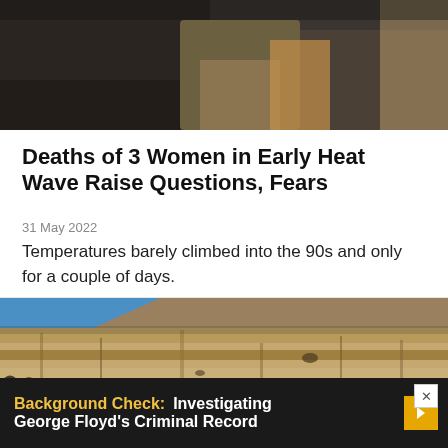[Figure (photo): Cropped photo of people, showing partial torsos and arms, dark clothing]
Deaths of 3 Women in Early Heat Wave Raise Questions, Fears
31 May 2022
Temperatures barely climbed into the 90s and only for a couple of days.
[Figure (photo): Rocky cliff face with blue sky in upper left corner]
Background Check:  Investigating George Floyd's Criminal Record